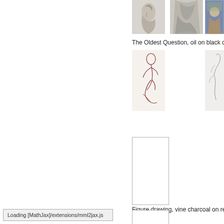[Figure (photo): Pencil/charcoal portrait sketch of a face, profile view]
[Figure (photo): Charcoal figure drawing with dark foliage]
[Figure (photo): Oil painting with colorful figures]
The Oldest Question, oil on black ca
[Figure (illustration): Red/brown ink figure drawing of seated nude figure]
[Figure (illustration): Light charcoal figure drawing, partial]
[Figure (photo): Blank/white placeholder image with grey border]
Figure drawing, vine charcoal on re
[Figure (photo): Blank/white placeholder image with grey border, partial]
Loading [MathJax]/extensions/mml2jax.js